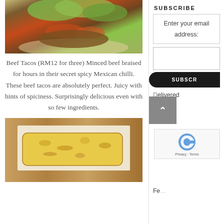[Figure (photo): Close-up photo of beef tacos with shredded lettuce, tomato salsa, and meat filling in a flour tortilla]
Beef Tacos (RM12 for three) Minced beef braised for hours in their secret spicy Mexican chilli. These beef tacos are absolutely perfect. Juicy with hints of spiciness. Surprisingly delicious even with so few ingredients.
[Figure (photo): Photo of a golden-brown baked burrito on parchment paper on a wooden board]
SUBSCRIBE
Enter your email address:
SUBSCR
elivered
Fe